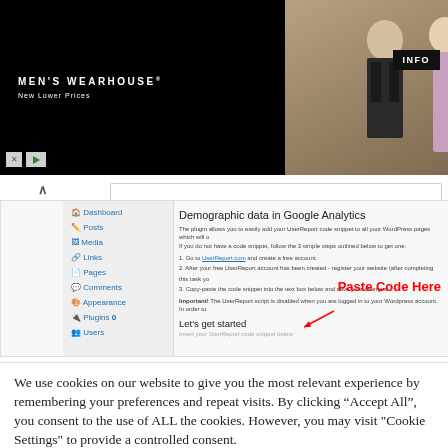[Figure (screenshot): Men's Wearhouse advertisement banner with couple in formal wear and man in suit, with INFO button]
[Figure (screenshot): WordPress admin dashboard screenshot showing 'Demographic data in Google Analytics' plugin page with navigation menu (Dashboard, Posts, Media, Links, Pages, Comments, Appearance, Plugins, Users) and content about UserReport code snippet. Red text 'Paste Code Here' with arrow pointing to text box. 'Let's get started' heading visible.]
We use cookies on our website to give you the most relevant experience by remembering your preferences and repeat visits. By clicking "Accept All", you consent to the use of ALL the cookies. However, you may visit "Cookie Settings" to provide a controlled consent.
Cookie Settings
Accept All